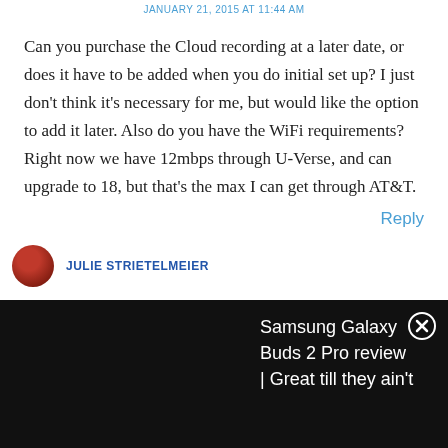JANUARY 21, 2015 AT 11:44 AM
Can you purchase the Cloud recording at a later date, or does it have to be added when you do initial set up? I just don't think it's necessary for me, but would like the option to add it later. Also do you have the WiFi requirements? Right now we have 12mbps through U-Verse, and can upgrade to 18, but that's the max I can get through AT&T.
Reply
JULIE STRIETELMEIER
[Figure (screenshot): Ad banner overlay at bottom of page showing Samsung Galaxy Buds 2 Pro review article snippet with close button]